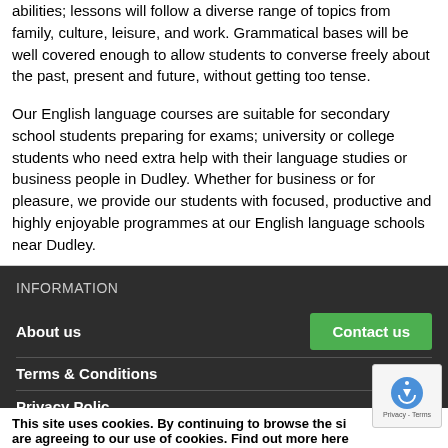abilities; lessons will follow a diverse range of topics from family, culture, leisure, and work. Grammatical bases will be well covered enough to allow students to converse freely about the past, present and future, without getting too tense.
Our English language courses are suitable for secondary school students preparing for exams; university or college students who need extra help with their language studies or business people in Dudley. Whether for business or for pleasure, we provide our students with focused, productive and highly enjoyable programmes at our English language schools near Dudley.
INFORMATION
About us
Terms & Conditions
Privacy Policy
This site uses cookies. By continuing to browse the site you are agreeing to our use of cookies. Find out more here